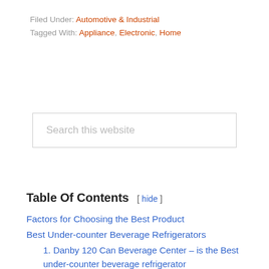Filed Under: Automotive & Industrial
Tagged With: Appliance, Electronic, Home
Search this website
Table Of Contents [hide]
Factors for Choosing the Best Product
Best Under-counter Beverage Refrigerators
1. Danby 120 Can Beverage Center – is the Best under-counter beverage refrigerator